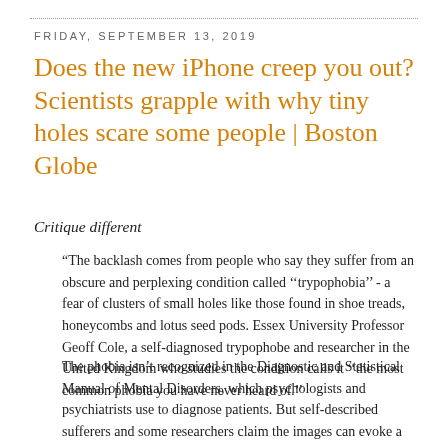FRIDAY, SEPTEMBER 13, 2019
Does the new iPhone creep you out? Scientists grapple with why tiny holes scare some people | Boston Globe
Critique different
"The backlash comes from people who say they suffer from an obscure and perplexing condition called ''trypophobia'' - a fear of clusters of small holes like those found in shoe treads, honeycombs and lotus seed pods. Essex University Professor Geoff Cole, a self-diagnosed trypophobe and researcher in the United Kingdom who studies the condition calls it ''the most common phobia you have never heard of.''
The phobia isn’t recognized in the Diagnostic and Statistical Manual of Mental Disorders, which psychologists and psychiatrists use to diagnose patients. But self-described sufferers and some researchers claim the images can evoke a strong emotional response and induce